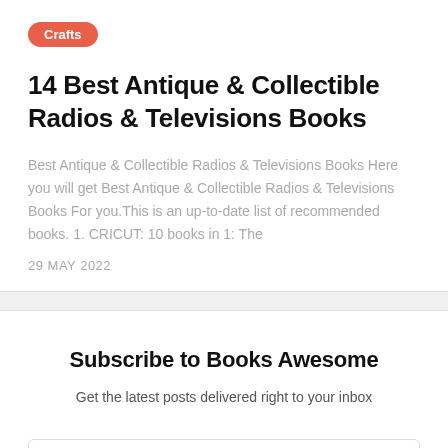Crafts
14 Best Antique & Collectible Radios & Televisions Books
Best Antique & Collectible Radios & Televisions Books Here you will get Best Antique & Collectible Radios & Televisions Books For you.This is an up-to-date list of recommended books. 1. CRICUT: 10 books in 1: The
29 MAY 2022
Subscribe to Books Awesome
Get the latest posts delivered right to your inbox
youremail@example.com